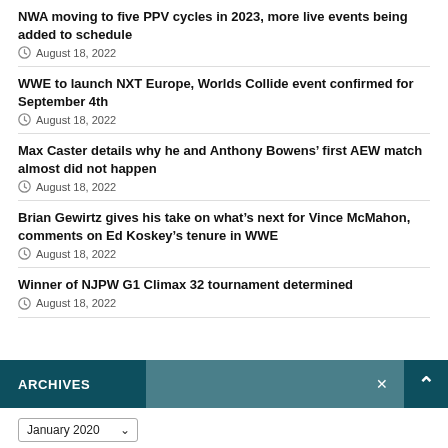NWA moving to five PPV cycles in 2023, more live events being added to schedule
August 18, 2022
WWE to launch NXT Europe, Worlds Collide event confirmed for September 4th
August 18, 2022
Max Caster details why he and Anthony Bowens’ first AEW match almost did not happen
August 18, 2022
Brian Gewirtz gives his take on what’s next for Vince McMahon, comments on Ed Koskey’s tenure in WWE
August 18, 2022
Winner of NJPW G1 Climax 32 tournament determined
August 18, 2022
ARCHIVES
January 2020